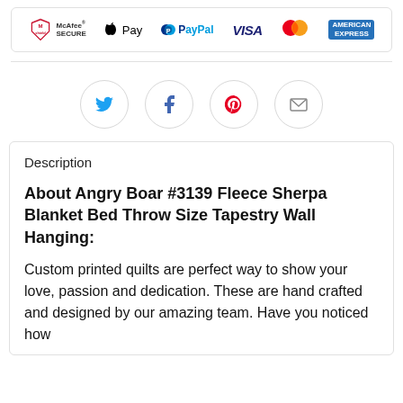[Figure (other): Payment method logos: McAfee Secure, Apple Pay, PayPal, Visa, Mastercard, American Express]
[Figure (other): Social share buttons: Twitter, Facebook, Pinterest, Email]
Description
About Angry Boar #3139 Fleece Sherpa Blanket Bed Throw Size Tapestry Wall Hanging:
Custom printed quilts are perfect way to show your love, passion and dedication. These are hand crafted and designed by our amazing team. Have you noticed how